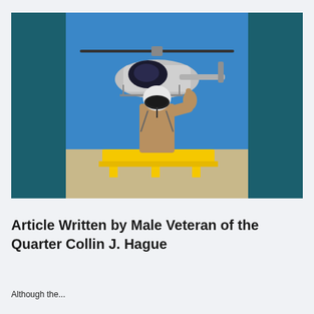[Figure (photo): A person in flight gear and white helmet with visor standing in front of a helicopter on a tarmac, giving a thumbs up. The photo has dark teal/navy side panels. The helicopter is white and black, parked on yellow ground equipment.]
Article Written by Male Veteran of the Quarter Collin J. Hague
Although the...